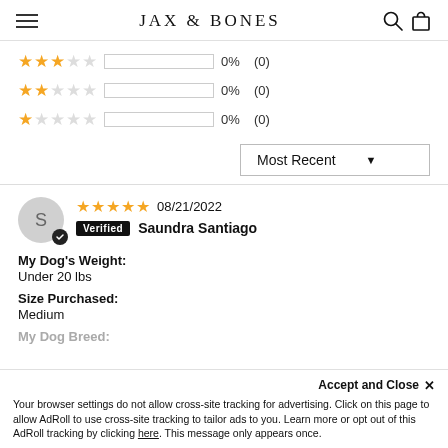JAX & BONES
| Stars | Bar | Pct | Count |
| --- | --- | --- | --- |
| 3 stars |  | 0% | (0) |
| 2 stars |  | 0% | (0) |
| 1 star |  | 0% | (0) |
Most Recent ▼
S  08/21/2022  Verified  Saundra Santiago
My Dog's Weight:
Under 20 lbs
Size Purchased:
Medium
My Dog Breed:
Accept and Close ×
Your browser settings do not allow cross-site tracking for advertising. Click on this page to allow AdRoll to use cross-site tracking to tailor ads to you. Learn more or opt out of this AdRoll tracking by clicking here. This message only appears once.